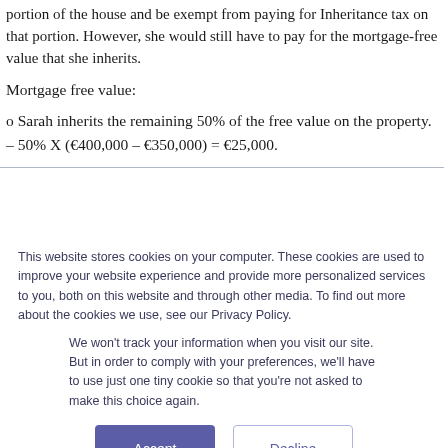portion of the house and be exempt from paying for Inheritance tax on that portion. However, she would still have to pay for the mortgage-free value that she inherits.
Mortgage free value:
o Sarah inherits the remaining 50% of the free value on the property.
This website stores cookies on your computer. These cookies are used to improve your website experience and provide more personalized services to you, both on this website and through other media. To find out more about the cookies we use, see our Privacy Policy.
We won't track your information when you visit our site. But in order to comply with your preferences, we'll have to use just one tiny cookie so that you're not asked to make this choice again.